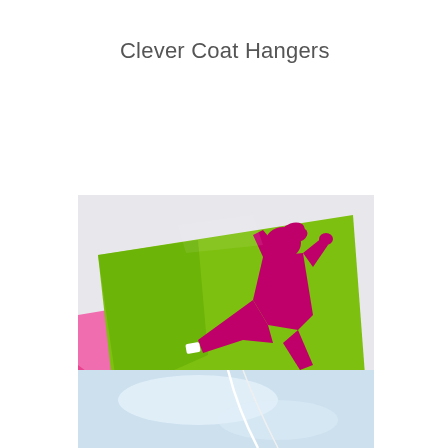Clever Coat Hangers
[Figure (photo): A colorful coat hanger product with a bright lime green background and a pink/magenta silhouette of a dancing or active female figure. The hanger is photographed at an angle on a surface with pink and blue colored backgrounds visible around it. The product appears to be a flat, card-like coat hanger with printed graphic design.]